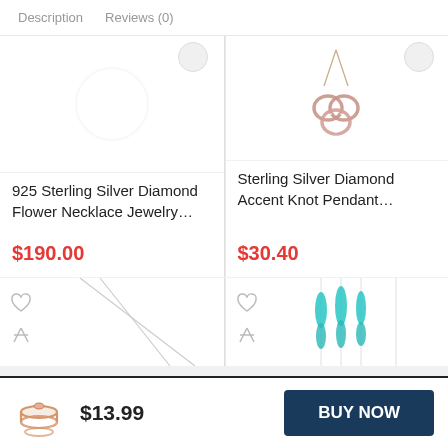Description   Reviews (0)
[Figure (photo): Product card: 925 Sterling Silver Diamond Flower Necklace Jewelry... priced at $190.00]
[Figure (photo): Product card: Sterling Silver Diamond Accent Knot Pendant... with rose gold knot pendant necklace image, priced at $30.40]
[Figure (photo): Partial product card bottom row left: necklace with heart/compare icons]
[Figure (photo): Partial product card bottom row right: turquoise/teal drop earrings set with heart/compare icons]
$13.99
BUY NOW